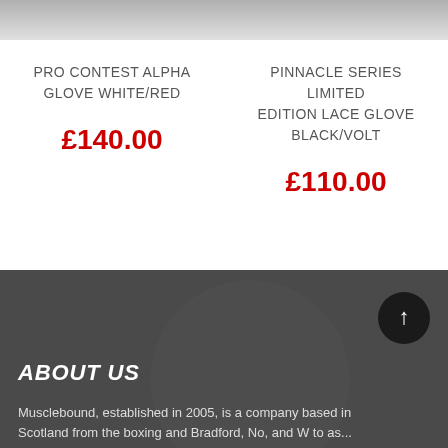[Figure (photo): Partial product image strip for Pro Contest Alpha Glove White/Red]
PRO CONTEST ALPHA GLOVE WHITE/RED
£140.00
[Figure (photo): Partial product image strip for Pinnacle Series Limited Edition Lace Glove Black/Volt]
PINNACLE SERIES LIMITED EDITION LACE GLOVE BLACK/VOLT
£110.00
ABOUT US
Musclebound, established in 2005, is a company based in Scotland from the boxing and Bradford, No, and W to as text cut